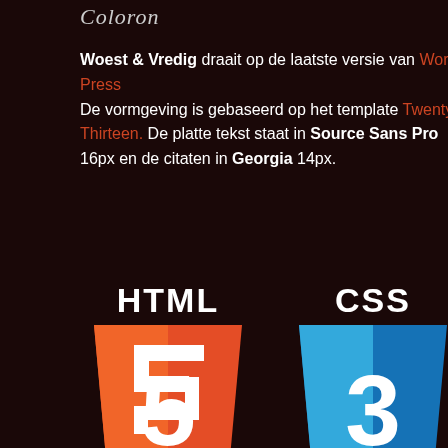Coloron
Woest & Vredig draait op de laatste versie van Word Press De vormgeving is gebaseerd op het template Twenty Thirteen. De platte tekst staat in Source Sans Pro 16px en de citaten in Georgia 14px.
[Figure (logo): HTML5 and CSS3 shield logos side by side]